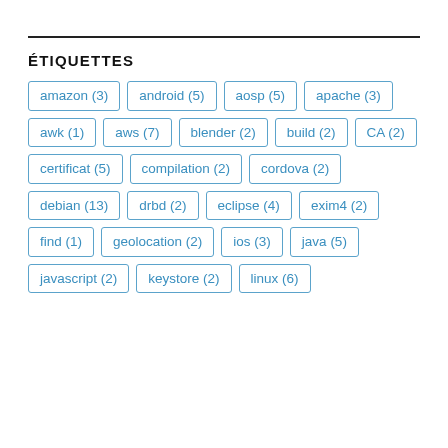ÉTIQUETTES
amazon (3)
android (5)
aosp (5)
apache (3)
awk (1)
aws (7)
blender (2)
build (2)
CA (2)
certificat (5)
compilation (2)
cordova (2)
debian (13)
drbd (2)
eclipse (4)
exim4 (2)
find (1)
geolocation (2)
ios (3)
java (5)
javascript (2)
keystore (2)
linux (6)